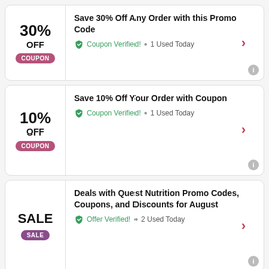30% OFF COUPON - Save 30% Off Any Order with this Promo Code - Coupon Verified! • 1 Used Today
10% OFF COUPON - Save 10% Off Your Order with Coupon - Coupon Verified! • 1 Used Today
SALE - Deals with Quest Nutrition Promo Codes, Coupons, and Discounts for August - Offer Verified! • 2 Used Today